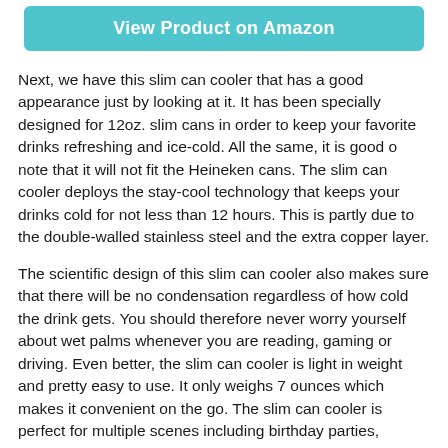[Figure (other): Teal/turquoise button labeled 'View Product on Amazon']
Next, we have this slim can cooler that has a good appearance just by looking at it. It has been specially designed for 12oz. slim cans in order to keep your favorite drinks refreshing and ice-cold. All the same, it is good o note that it will not fit the Heineken cans. The slim can cooler deploys the stay-cool technology that keeps your drinks cold for not less than 12 hours. This is partly due to the double-walled stainless steel and the extra copper layer.
The scientific design of this slim can cooler also makes sure that there will be no condensation regardless of how cold the drink gets. You should therefore never worry yourself about wet palms whenever you are reading, gaming or driving. Even better, the slim can cooler is light in weight and pretty easy to use. It only weighs 7 ounces which makes it convenient on the go. The slim can cooler is perfect for multiple scenes including birthday parties,